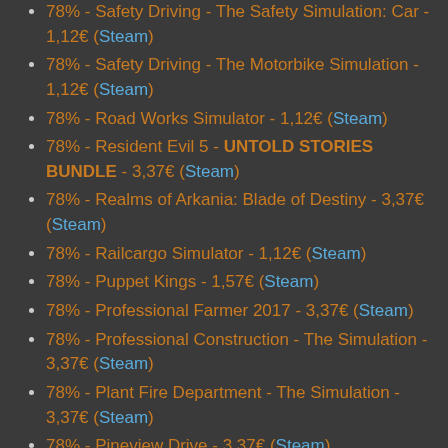78% - Safety Driving - The Safety Simulation: Car - 1,12€ (Steam)
78% - Safety Driving - The Motorbike Simulation - 1,12€ (Steam)
78% - Road Works Simulator - 1,12€ (Steam)
78% - Resident Evil 5 - UNTOLD STORIES BUNDLE - 3,37€ (Steam)
78% - Realms of Arkania: Blade of Destiny - 3,37€ (Steam)
78% - Railcargo Simulator - 1,12€ (Steam)
78% - Puppet Kings - 1,57€ (Steam)
78% - Professional Farmer 2017 - 3,37€ (Steam)
78% - Professional Construction - The Simulation - 3,37€ (Steam)
78% - Plant Fire Department - The Simulation - 3,37€ (Steam)
78% - Pineview Drive - 3,37€ (Steam)
78% - Osmos - 1,84€ (Steam)
78% - Nightclub Emporium - 1,12€ (Steam)